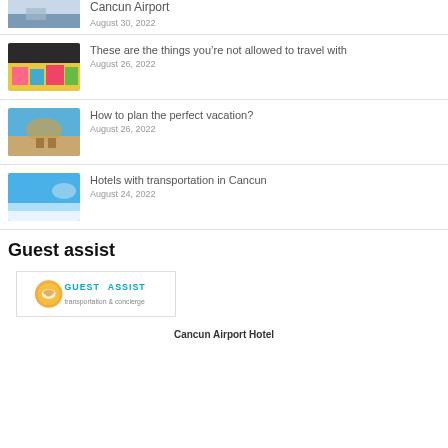[Figure (photo): Partial thumbnail of Cancun Airport scene]
Cancun Airport
August 30, 2022
[Figure (photo): Thumbnail of colorful luggage items]
These are the things you’re not allowed to travel with
August 26, 2022
[Figure (photo): Thumbnail of beach chairs under thatched umbrella]
How to plan the perfect vacation?
August 26, 2022
[Figure (photo): Thumbnail of beach resort with pool]
Hotels with transportation in Cancun
August 24, 2022
Guest assist
[Figure (logo): Guest Assist logo with handshake icon in yellow and blue]
Cancun Airport Hotel